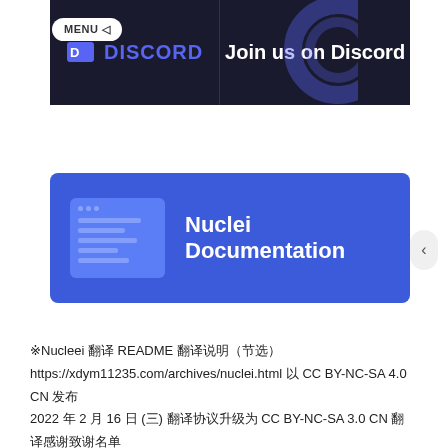[Figure (screenshot): Discord banner with dark background showing Discord logo and text 'Join us on Discord', with a MENU button overlay on the left]
[Figure (screenshot): Nuclei Documentation banner with blue background, showing a document icon on the left and 'Nuclei Documentation' text in white]
※Nucleei 翻译 README 翻译说明（节选）
https://xdym11235.com/archives/nuclei.html 以 CC BY-NC-SA 4.0 CN 发布
2022 年 2 月 16 日 (三) 翻译协议升级为 CC BY-NC-SA 3.0 CN 翻译感谢致谢名单